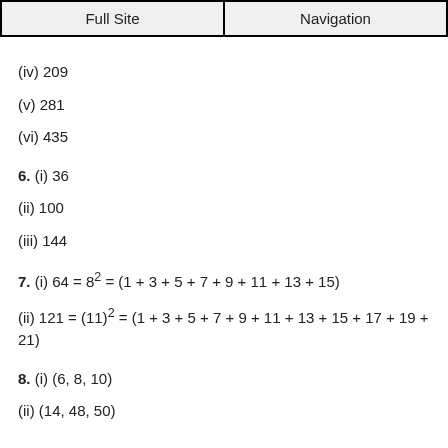Full Site | Navigation
(iv) 209
(v) 281
(vi) 435
6. (i) 36
(ii) 100
(iii) 144
7. (i) 64 = 8² = (1 + 3 + 5 + 7 + 9 + 11 + 13 + 15)
(ii) 121 = (11)² = (1 + 3 + 5 + 7 + 9 + 11 + 13 + 15 + 17 + 19 + 21)
8. (i) (6, 8, 10)
(ii) (14, 48, 50)